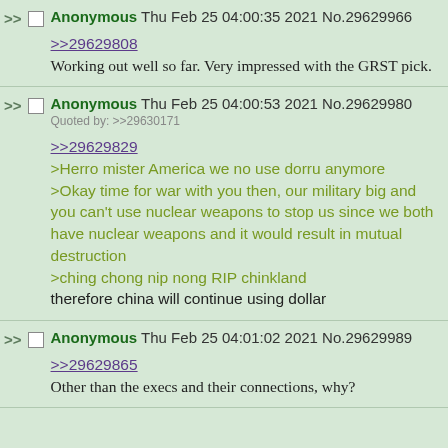Anonymous Thu Feb 25 04:00:35 2021 No.29629966 >>29629808 Working out well so far. Very impressed with the GRST pick.
Anonymous Thu Feb 25 04:00:53 2021 No.29629980 Quoted by: >>29630171 >>29629829 >Herro mister America we no use dorru anymore >Okay time for war with you then, our military big and you can't use nuclear weapons to stop us since we both have nuclear weapons and it would result in mutual destruction >ching chong nip nong RIP chinkland therefore china will continue using dollar
Anonymous Thu Feb 25 04:01:02 2021 No.29629989 >>29629865 Other than the execs and their connections, why?